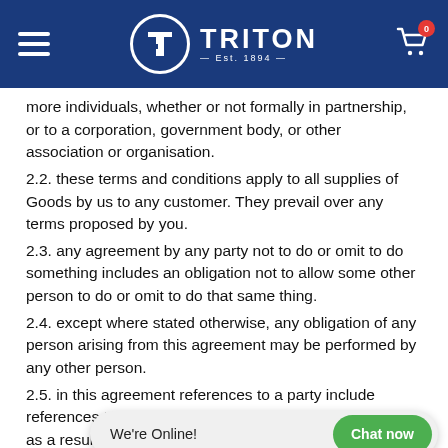Triton Est. 1894 — Navigation header with logo, hamburger menu, and cart
more individuals, whether or not formally in partnership, or to a corporation, government body, or other association or organisation.
2.2. these terms and conditions apply to all supplies of Goods by us to any customer. They prevail over any terms proposed by you.
2.3. any agreement by any party not to do or omit to do something includes an obligation not to allow some other person to do or omit to do that same thing.
2.4. except where stated otherwise, any obligation of any person arising from this agreement may be performed by any other person.
2.5. in this agreement references to a party include references to a per... obligations are transferred or pass as a result of...